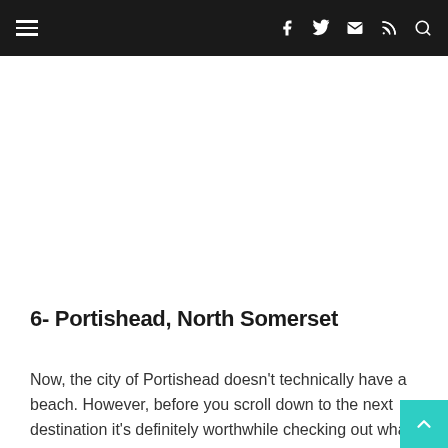Navigation bar with hamburger menu and social icons (Facebook, Twitter, Email, RSS, Search)
6- Portishead, North Somerset
Now, the city of Portishead doesn't technically have a beach. However, before you scroll down to the next destination it's definitely worthwhile checking out wha